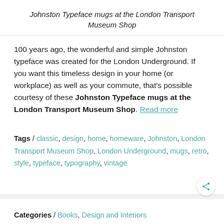Johnston Typeface mugs at the London Transport Museum Shop
100 years ago, the wonderful and simple Johnston typeface was created for the London Underground. If you want this timeless design in your home (or workplace) as well as your commute, that's possible courtesy of these Johnston Typeface mugs at the London Transport Museum Shop. Read more
Tags / classic, design, home, homeware, Johnston, London Transport Museum Shop, London Underground, mugs, retro, style, typeface, typography, vintage
Categories / Books, Design and Interiors
Postcards from Pelican: 100